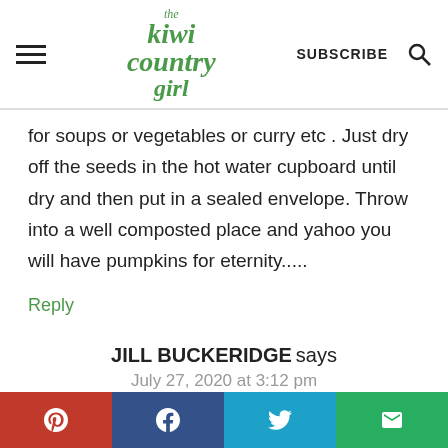the kiwi country girl — SUBSCRIBE [search icon]
for soups or vegetables or curry etc . Just dry off the seeds in the hot water cupboard until dry and then put in a sealed envelope. Throw into a well composted place and yahoo you will have pumpkins for eternity.....
Reply
JILL BUCKERIDGE says
July 27, 2020 at 3:12 pm